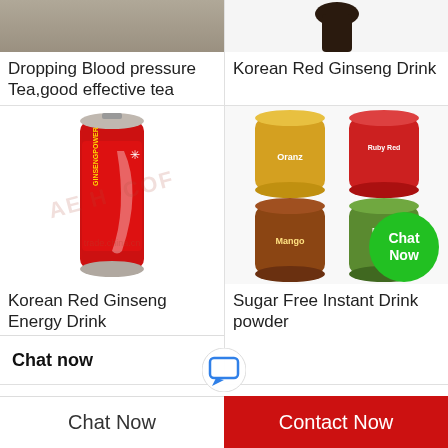[Figure (photo): Partial product image top left - brown/grey background tea product]
Dropping Blood pressure Tea,good effective tea
[Figure (photo): Korean Red Ginseng Drink product - dark bottle top visible]
Korean Red Ginseng Drink
[Figure (photo): Red Ginseng Power energy drink red can with watermark trade.china.cn]
Korean Red Ginseng Energy Drink
[Figure (photo): Multiple canned drink powder products in assorted flavors, with green Chat Now button]
Sugar Free Instant Drink powder
Chat now
Chat Now
Contact Now